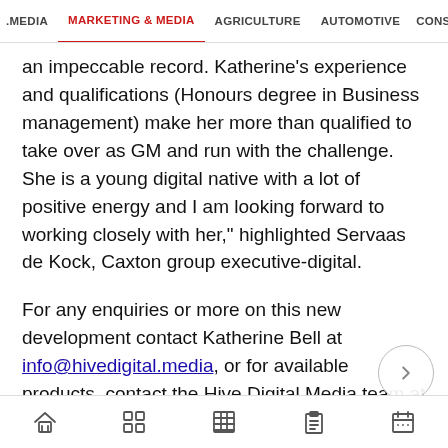.MEDIA  MARKETING & MEDIA  AGRICULTURE  AUTOMOTIVE  CONSTRU
an impeccable record. Katherine's experience and qualifications (Honours degree in Business management) make her more than qualified to take over as GM and run with the challenge. She is a young digital native with a lot of positive energy and I am looking forward to working closely with her," highlighted Servaas de Kock, Caxton group executive-digital.
For any enquiries or more on this new development contact Katherine Bell at info@hivedigital.media, or for available products, contact the Hive Digital Media team at info@hivedigital.media.